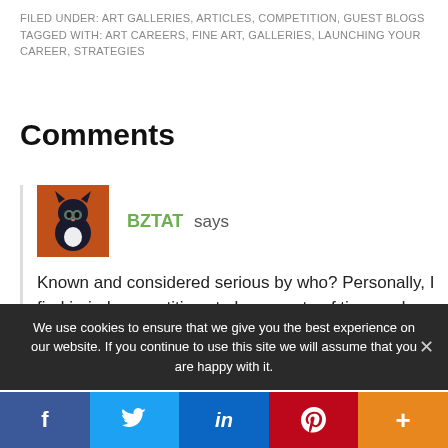FILED UNDER: ART GALLERIES, ARTICLES, COMPETITION, GUEST BLOGS
TAGGED WITH: ART CAREERS, FINE ART, GALLERIES, LAUNCHING YOUR CAREER, STRATEGIES
Comments
[Figure (illustration): Avatar image of a black cat on an orange background, painted illustration style]
BZTAT says
Known and considered serious by who? Personally, I find juried competitions to be a waste of time and money. I have entered them in the past, and gotten into some fairly
We use cookies to ensure that we give you the best experience on our website. If you continue to use this site we will assume that you are happy with it.
f  [Twitter bird]  in  [Pinterest P]  +